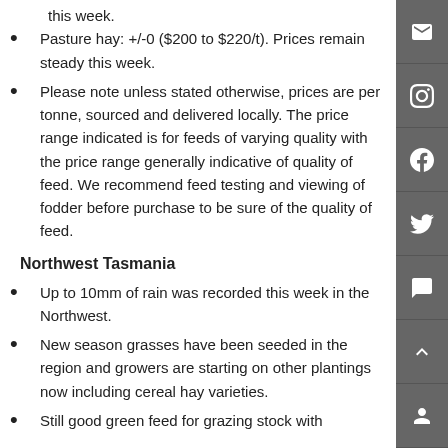this week.
Pasture hay: +/-0 ($200 to $220/t). Prices remain steady this week.
Please note unless stated otherwise, prices are per tonne, sourced and delivered locally. The price range indicated is for feeds of varying quality with the price range generally indicative of quality of feed. We recommend feed testing and viewing of fodder before purchase to be sure of the quality of feed.
Northwest Tasmania
Up to 10mm of rain was recorded this week in the Northwest.
New season grasses have been seeded in the region and growers are starting on other plantings now including cereal hay varieties.
Still good green feed for grazing stock with